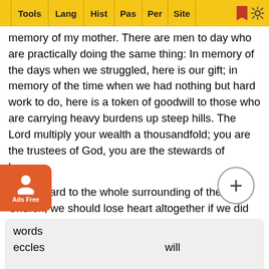Tools | Lang | Hist | Pas | Per | Site
memory of my mother. There are men to day who are practically doing the same thing: In memory of the days when we struggled, here is our gift; in memory of the time when we had nothing but hard work to do, here is a token of goodwill to those who are carrying heavy burdens up steep hills. The Lord multiply your wealth a thousandfold; you are the trustees of God, you are the stewards of heaven.
With regard to the whole surrounding of the Church, we should lose heart altogether if we did not hold on to Christ himself. We must come back to the living Lord. If any man were to ask me, as I have recently been asked, to discuss the present position and action of Christianity, I should decline to debate because the man would silence me; I should have no answer to his poignant eloquence. If I endeavoured as a partial pleader to make a show on the other side, my own heart would blush for shame whilst I heard my own hollow words...
eccles... will